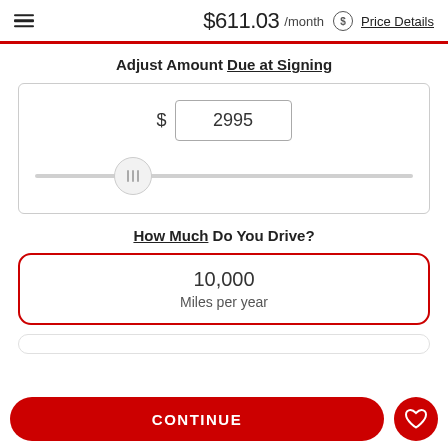$611.03 /month  Price Details
Adjust Amount Due at Signing
[Figure (other): Dollar amount input field showing 2995 with a slider control below it set to approximately 25% from left]
How Much Do You Drive?
10,000
Miles per year
CONTINUE